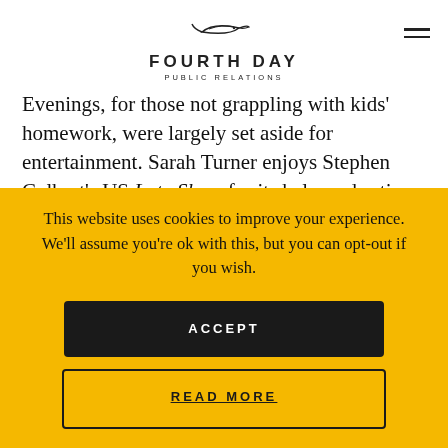[Figure (logo): Fourth Day Public Relations logo with stylized bird above the text]
Evenings, for those not grappling with kids' homework, were largely set aside for entertainment. Sarah Turner enjoys Stephen Colbert's US Late Show for its balanced satire – it's now streamed on YouTube- but less political options seem to be top
This website uses cookies to improve your experience. We'll assume you're ok with this, but you can opt-out if you wish.
ACCEPT
READ MORE